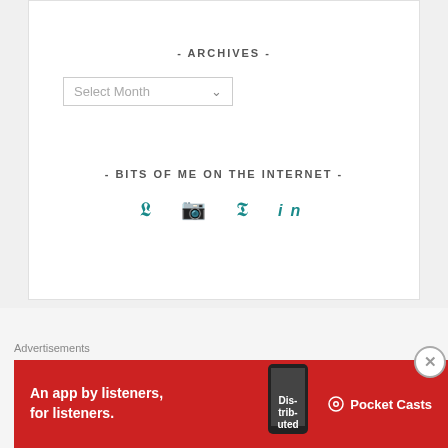- ARCHIVES -
Select Month
- BITS OF ME ON THE INTERNET -
[Figure (other): Social media icons: Twitter, Instagram, Pinterest, LinkedIn in teal color]
- FOLLOW MY UPDATES! -
Advertisements
[Figure (other): Pocket Casts advertisement banner: An app by listeners, for listeners. Red background with phone image and Pocket Casts logo.]